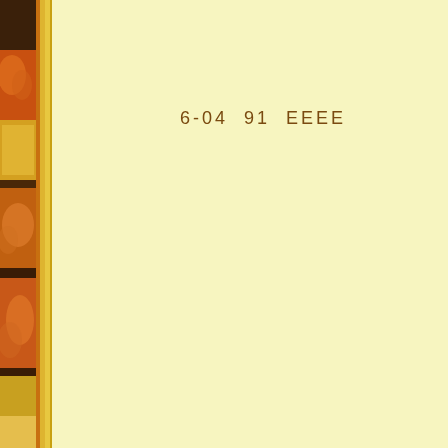[Figure (illustration): Left decorative sidebar with orange/golden floral/autumn motif panels and vertical gold/yellow stripes]
6-04  91  EEEE